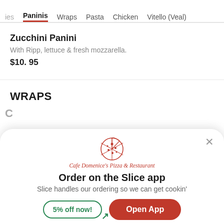ies   Paninis   Wraps   Pasta   Chicken   Vitello (Veal)
Zucchini Panini
With Ripp, lettuce & fresh mozzarella.
$10.95
WRAPS
[Figure (logo): Cafe Domenice's Pizza & Restaurant logo: illustrated pizza slice in red outline]
Cafe Domenice's Pizza & Restaurant
Order on the Slice app
Slice handles our ordering so we can get cookin'
5% off now!
Open App